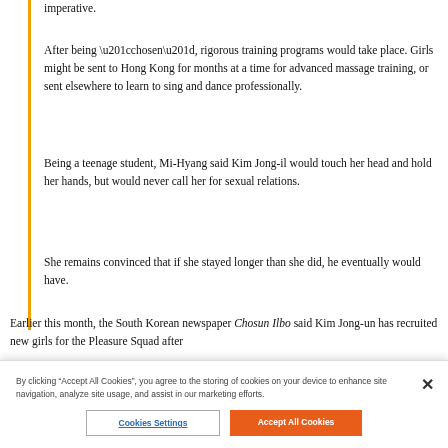imperative.
After being “chosen”, rigorous training programs would take place. Girls might be sent to Hong Kong for months at a time for advanced massage training, or sent elsewhere to learn to sing and dance professionally.
Being a teenage student, Mi-Hyang said Kim Jong-il would touch her head and hold her hands, but would never call her for sexual relations.
She remains convinced that if she stayed longer than she did, he eventually would have.
Earlier this month, the South Korean newspaper Chosun Ilbo said Kim Jong-un has recruited new girls for the Pleasure Squad after
By clicking “Accept All Cookies”, you agree to the storing of cookies on your device to enhance site navigation, analyze site usage, and assist in our marketing efforts.
Cookies Settings
Accept All Cookies